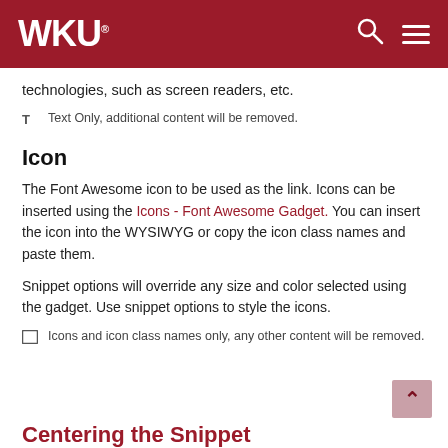WKU
technologies, such as screen readers, etc.
T  Text Only, additional content will be removed.
Icon
The Font Awesome icon to be used as the link. Icons can be inserted using the Icons - Font Awesome Gadget. You can insert the icon into the WYSIWYG or copy the icon class names and paste them.
Snippet options will override any size and color selected using the gadget. Use snippet options to style the icons.
Icons and icon class names only, any other content will be removed.
Centering the Snippet